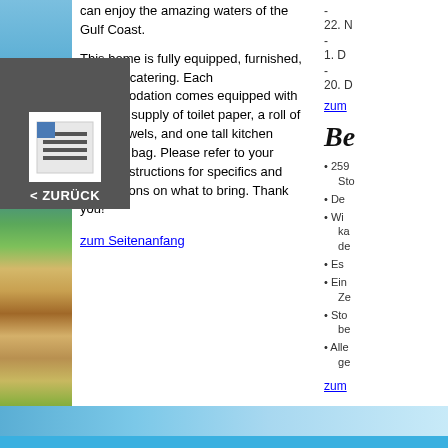[Figure (photo): Left beach strip with ocean and palm/vegetation imagery]
[Figure (other): Back navigation button overlay with document icon and '< ZURÜCK' label]
can enjoy the amazing waters of the Gulf Coast.
This home is fully equipped, furnished, and self-catering. Each accommodation comes equipped with an initial supply of toilet paper, a roll of paper towels, and one tall kitchen garbage bag. Please refer to your arrival instructions for specifics and suggestions on what to bring. Thank you!
zum Seitenanfang
22. N
-
1. D
-
20. D
zum
Bo
259... Sto
De
Win... ka... de
Es
Ein... Ze
Sto... be
Alle... ge
zum